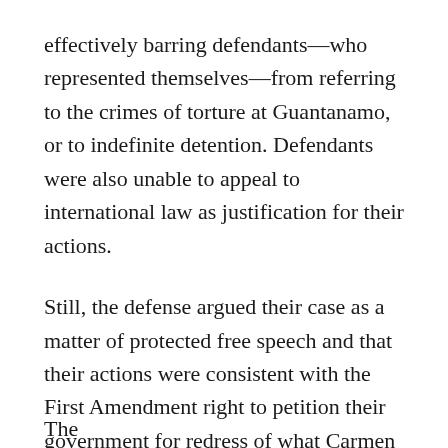effectively barring defendants—who represented themselves—from referring to the crimes of torture at Guantanamo, or to indefinite detention. Defendants were also unable to appeal to international law as justification for their actions.
Still, the defense argued their case as a matter of protected free speech and that their actions were consistent with the First Amendment right to petition their government for redress of what Carmen Trotta told the jury were “numerous and grave” grievances that persist to this day.
The partial line at the bottom continues on the next page.